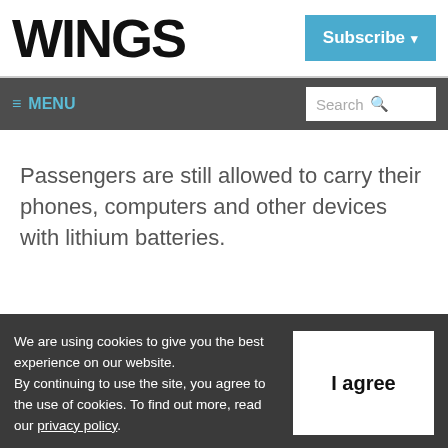WINGS
Subscribe ▾
≡ MENU | Search 🔍
Passengers are still allowed to carry their phones, computers and other devices with lithium batteries.
We are using cookies to give you the best experience on our website.
By continuing to use the site, you agree to the use of cookies. To find out more, read our privacy policy.
I agree